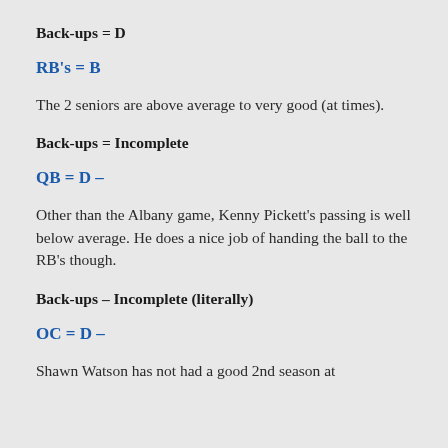Back-ups = D
RB's = B
The 2 seniors are above average to very good (at times).
Back-ups = Incomplete
QB = D –
Other than the Albany game, Kenny Pickett's passing is well below average. He does a nice job of handing the ball to the RB's though.
Back-ups – Incomplete (literally)
OC = D –
Shawn Watson has not had a good 2nd season at